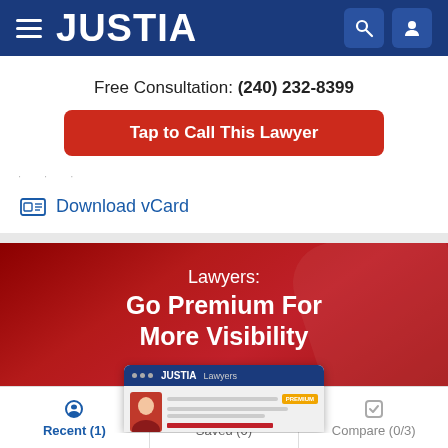JUSTIA
Free Consultation: (240) 232-8399
Tap to Call This Lawyer
Download vCard
Lawyers:
Go Premium For More Visibility
[Figure (screenshot): Mini browser preview showing Justia Lawyers premium profile interface]
Recent (1)  Saved (0)  Compare (0/3)